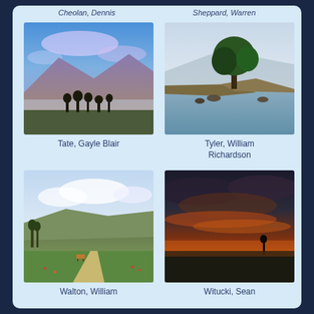Cheolan, Dennis   Sheppard, Warren
[Figure (illustration): Landscape painting with colorful purple and blue sky, mountains, and dark trees silhouetted in foreground]
Tate, Gayle Blair
[Figure (illustration): Landscape painting of a large tree on a rocky shore beside calm water with misty mountains in background]
Tyler, William Richardson
[Figure (illustration): Landscape painting of green meadows and rolling hills with cloudy sky and cattle in foreground]
Walton, William
[Figure (illustration): Landscape painting of a dramatic orange and red sunset over flat plains with dark clouds]
Witucki, Sean